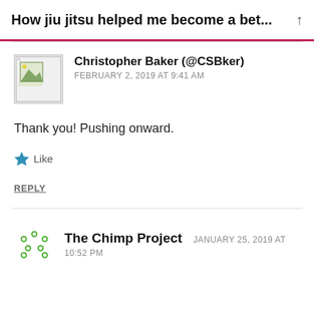How jiu jitsu helped me become a bet...
Christopher Baker (@CSBker)
FEBRUARY 2, 2019 AT 9:41 AM
Thank you! Pushing onward.
Like
REPLY
The Chimp Project
JANUARY 25, 2019 AT 10:52 PM